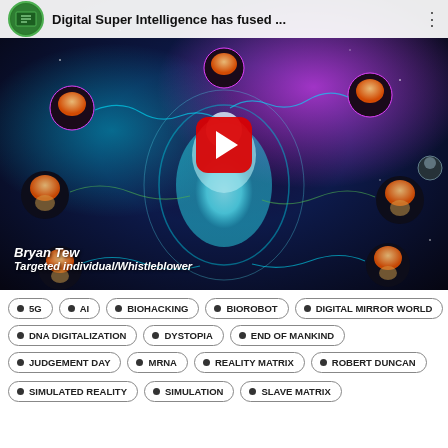[Figure (screenshot): YouTube video thumbnail showing 'Digital Super Intelligence has fused ...' with a cosmic brain network illustration. Channel icon top left, video title in top bar, red play button in center. Bryan Tew / Targeted individual/Whistleblower text overlay at bottom left.]
• 5G  • AI  • BIOHACKING  • BIOROBOT  • DIGITAL MIRROR WORLD
• DNA DIGITALIZATION  • DYSTOPIA  • END OF MANKIND
• JUDGEMENT DAY  • MRNA  • REALITY MATRIX  • ROBERT DUNCAN
• SIMULATED REALITY  • SIMULATION  • SLAVE MATRIX